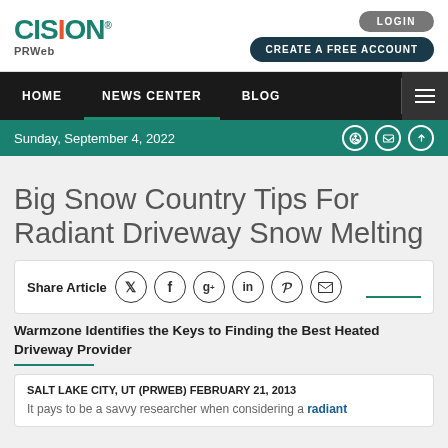[Figure (logo): Cision PRWeb logo in teal and orange]
LOGIN
CREATE A FREE ACCOUNT
HOME  NEWS CENTER  BLOG
Sunday, September 4, 2022
Big Snow Country Tips For Radiant Driveway Snow Melting
Share Article
Warmzone Identifies the Keys to Finding the Best Heated Driveway Provider
SALT LAKE CITY, UT (PRWEB) FEBRUARY 21, 2013
It pays to be a savvy researcher when considering a radiant